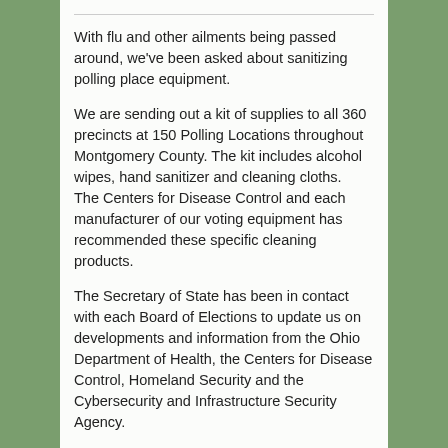With flu and other ailments being passed around, we've been asked about sanitizing polling place equipment.
We are sending out a kit of supplies to all 360 precincts at 150 Polling Locations throughout Montgomery County. The kit includes alcohol wipes, hand sanitizer and cleaning cloths.  The Centers for Disease Control and each manufacturer of our voting equipment has recommended these specific cleaning products.
The Secretary of State has been in contact with each Board of Elections to update us on developments and information from the Ohio Department of Health, the Centers for Disease Control, Homeland Security and the Cybersecurity and Infrastructure Security Agency.
As reported by the Ohio Department of Health, there have been no confirmed cases of coronavirus disease 2019 (COVID-19) in Ohio. Numbers on possible and confirmed cases are regularly updated at